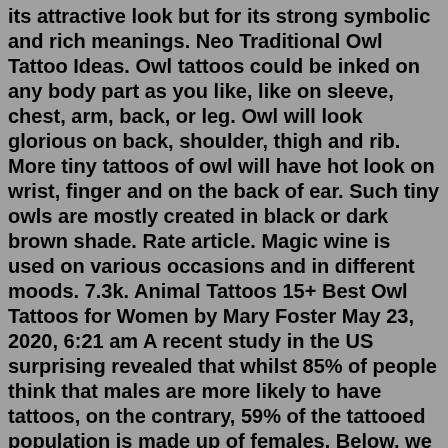its attractive look but for its strong symbolic and rich meanings. Neo Traditional Owl Tattoo Ideas. Owl tattoos could be inked on any body part as you like, like on sleeve, chest, arm, back, or leg. Owl will look glorious on back, shoulder, thigh and rib. More tiny tattoos of owl will have hot look on wrist, finger and on the back of ear. Such tiny owls are mostly created in black or dark brown shade. Rate article. Magic wine is used on various occasions and in different moods. 7.3k. Animal Tattoos 15+ Best Owl Tattoos for Women by Mary Foster May 23, 2020, 6:21 am A recent study in the US surprising revealed that whilst 85% of people think that males are more likely to have tattoos, on the contrary, 59% of the tattooed population is made up of females. Below, we are going to mention owl tattoo designs for women. *May 25, 2022 · Owl tattoos are open to customization. Owl tattoos are loved both by women and men not only for its attractive look but for its strong symbolic and rich meanings. Neo Traditional Owl Tattoo Ideas. Owl tattoos could be inked on any body part as you like,